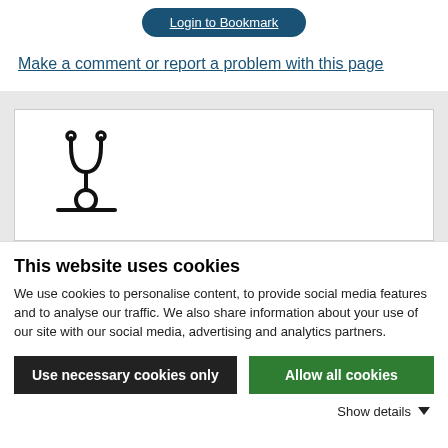Login to Bookmark
Make a comment or report a problem with this page
[Figure (illustration): Stethoscope icon in a white card on a grey background]
This website uses cookies
We use cookies to personalise content, to provide social media features and to analyse our traffic. We also share information about your use of our site with our social media, advertising and analytics partners.
Use necessary cookies only
Allow all cookies
Show details